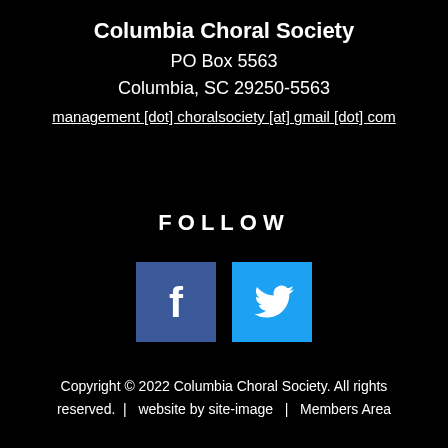Columbia Choral Society
PO Box 5563
Columbia, SC 29250-5563
management [dot] choralsociety [at] gmail [dot] com
FOLLOW
[Figure (illustration): Facebook and Twitter social media icon buttons (blue square backgrounds with white f and bird logos)]
Copyright © 2022 Columbia Choral Society. All rights reserved.  |   website by site-image   |   Members Area